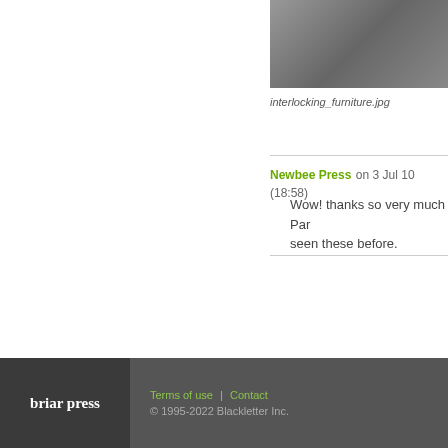[Figure (photo): Photograph of interlocking furniture hardware pieces, metal components]
interlocking_furniture.jpg
Newbee Press on 3 Jul 10 (18:58)
Wow! thanks so very much Par... seen these before.
briar press  Terms of use  |  Contact  © 1995-2022 Blackletter Inc.